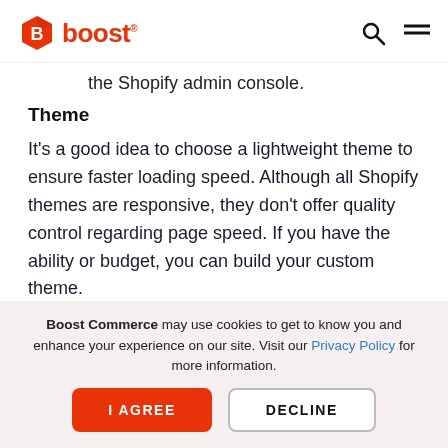boost
the Shopify admin console.
Theme
It's a good idea to choose a lightweight theme to ensure faster loading speed. Although all Shopify themes are responsive, they don't offer quality control regarding page speed. If you have the ability or budget, you can build your custom theme.
Boost Commerce may use cookies to get to know you and enhance your experience on our site. Visit our Privacy Policy for more information.